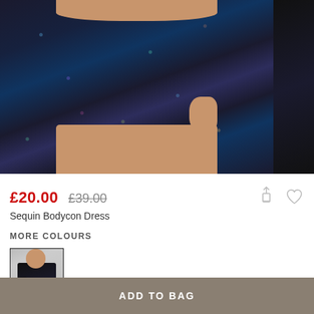[Figure (photo): Model wearing a dark navy/black iridescent sequin bodycon mini dress with long sleeves, cropped to show the torso and upper legs. A cropped second product image is partially visible on the right side.]
£20.00 £39.00
Sequin Bodycon Dress
MORE COLOURS
[Figure (photo): Small thumbnail swatch image of a model wearing the black sequin bodycon dress, full length view.]
ADD TO BAG